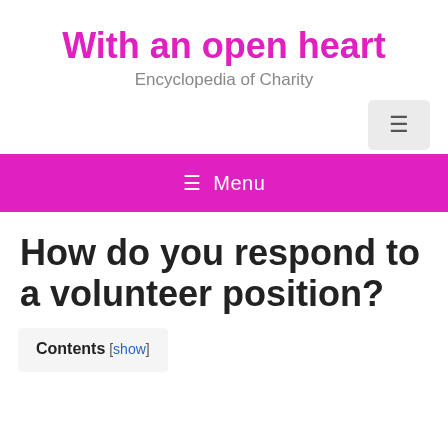With an open heart
Encyclopedia of Charity
[Figure (other): Hamburger menu button icon]
≡ Menu
How do you respond to a volunteer position?
Contents [ show ]